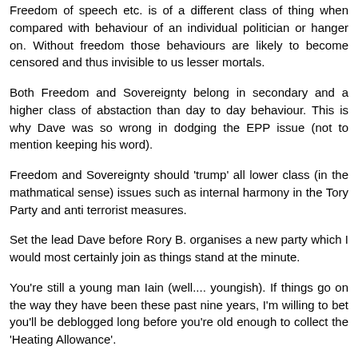Freedom of speech etc. is of a different class of thing when compared with behaviour of an individual politician or hanger on. Without freedom those behaviours are likely to become censored and thus invisible to us lesser mortals.
Both Freedom and Sovereignty belong in secondary and a higher class of abstaction than day to day behaviour. This is why Dave was so wrong in dodging the EPP issue (not to mention keeping his word).
Freedom and Sovereignty should 'trump' all lower class (in the mathmatical sense) issues such as internal harmony in the Tory Party and anti terrorist measures.
Set the lead Dave before Rory B. organises a new party which I would most certainly join as things stand at the minute.
You're still a young man Iain (well.... youngish). If things go on the way they have been these past nine years, I'm willing to bet you'll be deblogged long before you're old enough to collect the 'Heating Allowance'.